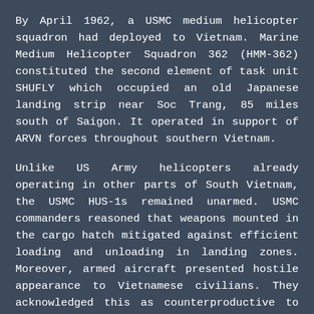By April 1962, a USMC medium helicopter squadron had deployed to Vietnam. Marine Medium Helicopter Squadron 362 (HMM-362) constituted the second element of task unit SHUFLY which occupied an old Japanese landing strip near Soc Trang, 85 miles south of Saigon. It operated in support of ARVN forces throughout southern Vietnam.
Unlike US Army helicopters already operating in other parts of South Vietnam, the USMC HUS-1s remained unarmed. USMC commanders reasoned that weapons mounted in the cargo hatch mitigated against efficient loading and unloading in landing zones. Moreover, armed aircraft presented hostile appearance to Vietnamese civilians. They acknowledged this as counterproductive to counterinsurgency by...